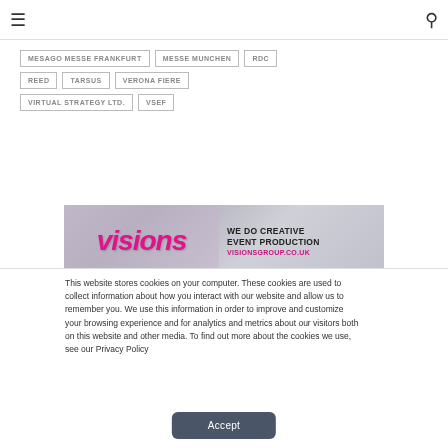Navigation bar with hamburger menu and search icon
MESAGO MESSE FRANKFURT
MESSE MUNCHEN
RDC
REED
TARSUS
VERONA FIERE
VIRTUAL STRATEGY LTD.
VSEF
[Figure (other): Visions Group advertisement banner: 'visions WE DO CREATIVE EVENT PRODUCTION VISIONSGROUP.CO.UK']
This website stores cookies on your computer. These cookies are used to collect information about how you interact with our website and allow us to remember you. We use this information in order to improve and customize your browsing experience and for analytics and metrics about our visitors both on this website and other media. To find out more about the cookies we use, see our Privacy Policy